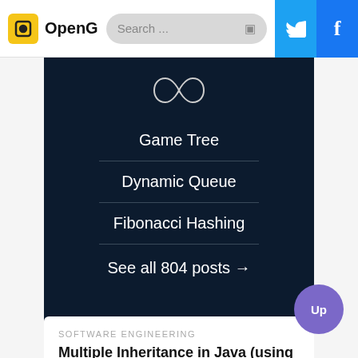OpenG | Search ... | Twitter | Facebook
Game Tree
Dynamic Queue
Fibonacci Hashing
See all 804 posts →
SOFTWARE ENGINEERING
Multiple Inheritance in Java (using